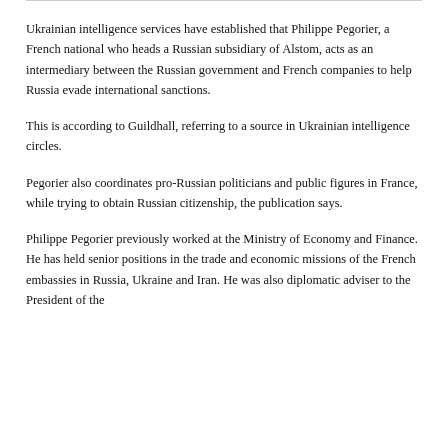Ukrainian intelligence services have established that Philippe Pegorier, a French national who heads a Russian subsidiary of Alstom, acts as an intermediary between the Russian government and French companies to help Russia evade international sanctions.
This is according to Guildhall, referring to a source in Ukrainian intelligence circles.
Pegorier also coordinates pro-Russian politicians and public figures in France, while trying to obtain Russian citizenship, the publication says.
Philippe Pegorier previously worked at the Ministry of Economy and Finance. He has held senior positions in the trade and economic missions of the French embassies in Russia, Ukraine and Iran. He was also diplomatic adviser to the President of the